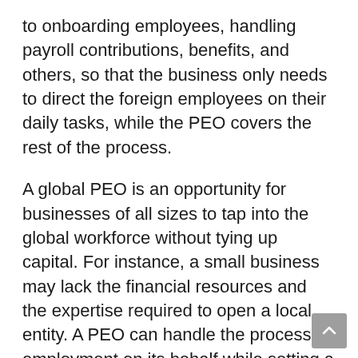to onboarding employees, handling payroll contributions, benefits, and others, so that the business only needs to direct the foreign employees on their daily tasks, while the PEO covers the rest of the process.
A global PEO is an opportunity for businesses of all sizes to tap into the global workforce without tying up capital. For instance, a small business may lack the financial resources and the expertise required to open a local entity. A PEO can handle the process of employment on its behalf while setting a fixed fee per employee. This does not only save time and money but also allows for better budgeting and planning.
For larger organizations, the PEO can supplement the